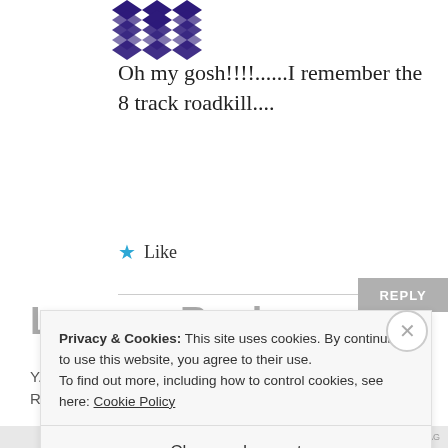[Figure (logo): Diamond/quilt pattern logo in dark purple/navy color, at the top left area]
Oh my gosh!!!!......I remember the 8 track roadkill....
★ Like
REPLY
Leave a Reply
Privacy & Cookies: This site uses cookies. By continuing to use this website, you agree to their use. To find out more, including how to control cookies, see here: Cookie Policy
Close and accept